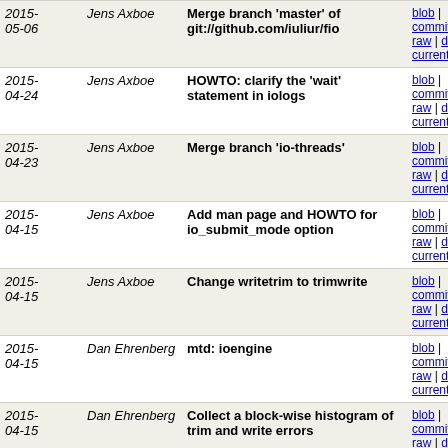| Date | Author | Commit message | Links |
| --- | --- | --- | --- |
| 2015-05-06 | Jens Axboe | Merge branch 'master' of git://github.com/iuliur/fio | blob | commitdiff | raw | diff to current |
| 2015-04-24 | Jens Axboe | HOWTO: clarify the 'wait' statement in iologs | blob | commitdiff | raw | diff to current |
| 2015-04-23 | Jens Axboe | Merge branch 'io-threads' | blob | commitdiff | raw | diff to current |
| 2015-04-15 | Jens Axboe | Add man page and HOWTO for io_submit_mode option | blob | commitdiff | raw | diff to current |
| 2015-04-15 | Jens Axboe | Change writetrim to trimwrite | blob | commitdiff | raw | diff to current |
| 2015-04-15 | Dan Ehrenberg | mtd: ioengine | blob | commitdiff | raw | diff to current |
| 2015-04-15 | Dan Ehrenberg | Collect a block-wise histogram of trim and write errors | blob | commitdiff | raw | diff to current |
| 2015-03-24 | Jens Axboe | Add support for POSIX_FADV_STREAMID | blob | commitdiff | raw | diff to current |
| 2015-03-18 | Jens Axboe | Update documentation for zero_buffers | blob | commitdiff | raw | diff to current |
| 2015-02-18 | Justin Eno | Allow verify w/norandommap and bsrange | blob | commitdiff | raw | diff to current |
| 2014- | Jens Axboe | Update size/io_size descriptions | blob | |